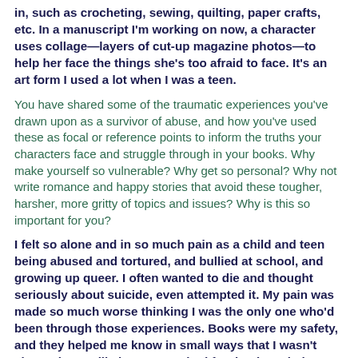in, such as crocheting, sewing, quilting, paper crafts, etc. In a manuscript I'm working on now, a character uses collage—layers of cut-up magazine photos—to help her face the things she's too afraid to face. It's an art form I used a lot when I was a teen.
You have shared some of the traumatic experiences you've drawn upon as a survivor of abuse, and how you've used these as focal or reference points to inform the truths your characters face and struggle through in your books. Why make yourself so vulnerable? Why get so personal? Why not write romance and happy stories that avoid these tougher, harsher, more gritty of topics and issues? Why is this so important for you?
I felt so alone and in so much pain as a child and teen being abused and tortured, and bullied at school, and growing up queer. I often wanted to die and thought seriously about suicide, even attempted it. My pain was made so much worse thinking I was the only one who'd been through those experiences. Books were my safety, and they helped me know in small ways that I wasn't alone—but I still always searched for that knowledge that I wasn't the only one who'd been through those